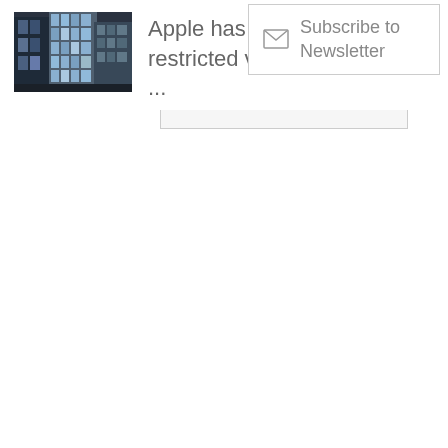[Figure (photo): Thumbnail image of Apple store or office building, showing glass skyscraper facade at night/dusk]
Apple has restricted visits ...
Subscribe to Newsletter